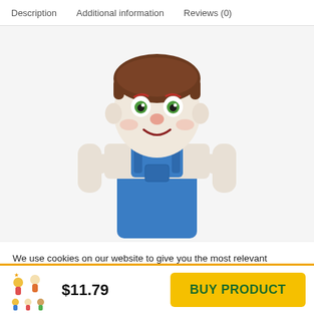Description   Additional information   Reviews (0)
[Figure (photo): Stuffed plush doll of a boy character with brown hair, green eyes, pink nose, and blue overalls over a white long-sleeve shirt and yellow undershirt]
We use cookies on our website to give you the most relevant experience by remembering your preferences and repeat visits. By clicking “Accept”, you consent to the use of ALL the cookies.
Do not sell my personal information.
[Figure (logo): Colorful cartoon characters logo for toy product]
$11.79
BUY PRODUCT